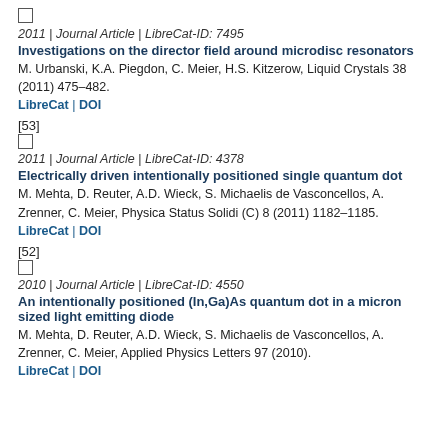[checkbox] 2011 | Journal Article | LibreCat-ID: 7495
Investigations on the director field around microdisc resonators
M. Urbanski, K.A. Piegdon, C. Meier, H.S. Kitzerow, Liquid Crystals 38 (2011) 475–482.
LibreCat | DOI
[53]
[checkbox] 2011 | Journal Article | LibreCat-ID: 4378
Electrically driven intentionally positioned single quantum dot
M. Mehta, D. Reuter, A.D. Wieck, S. Michaelis de Vasconcellos, A. Zrenner, C. Meier, Physica Status Solidi (C) 8 (2011) 1182–1185.
LibreCat | DOI
[52]
[checkbox] 2010 | Journal Article | LibreCat-ID: 4550
An intentionally positioned (In,Ga)As quantum dot in a micron sized light emitting diode
M. Mehta, D. Reuter, A.D. Wieck, S. Michaelis de Vasconcellos, A. Zrenner, C. Meier, Applied Physics Letters 97 (2010).
LibreCat | DOI